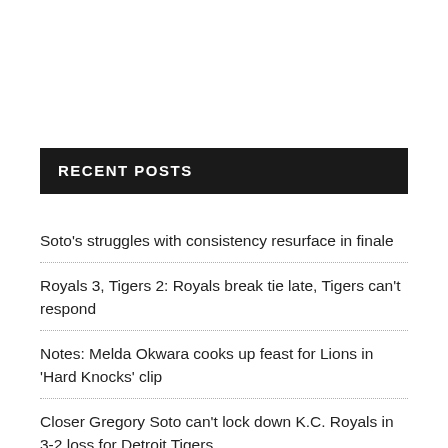RECENT POSTS
Soto's struggles with consistency resurface in finale
Royals 3, Tigers 2: Royals break tie late, Tigers can't respond
Notes: Melda Okwara cooks up feast for Lions in 'Hard Knocks' clip
Closer Gregory Soto can't lock down K.C. Royals in 3-2 loss for Detroit Tigers